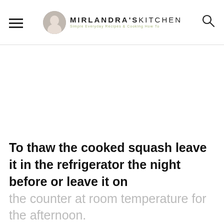MIRLANDRA'S KITCHEN — Simple Everyday Recipes & Cooking How To
To thaw the cooked squash leave it in the refrigerator the night before or leave it on the counter at room temperature for the afternoon.